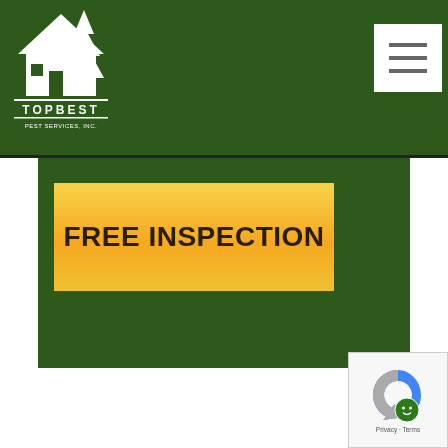[Figure (logo): Topbest Pest Services Inc. logo — white house with tree silhouette on dark green background, text TOPBEST and Pest Services, Inc. below]
[Figure (other): Hamburger menu button — three horizontal lines on white square background]
FREE INSPECTION
[Figure (other): reCAPTCHA badge with blue/grey arrow logo and green circle with smiley face, text: Privacy - Terms]